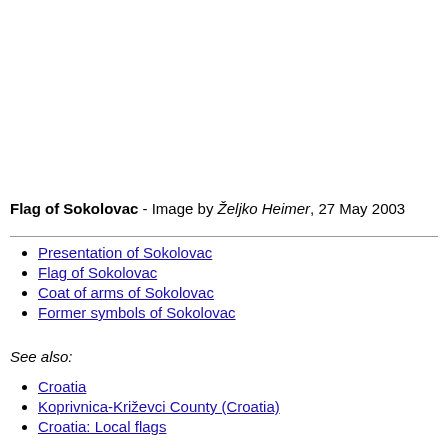Flag of Sokolovac - Image by Željko Heimer, 27 May 2003
Presentation of Sokolovac
Flag of Sokolovac
Coat of arms of Sokolovac
Former symbols of Sokolovac
See also:
Croatia
Koprivnica-Križevci County (Croatia)
Croatia: Local flags